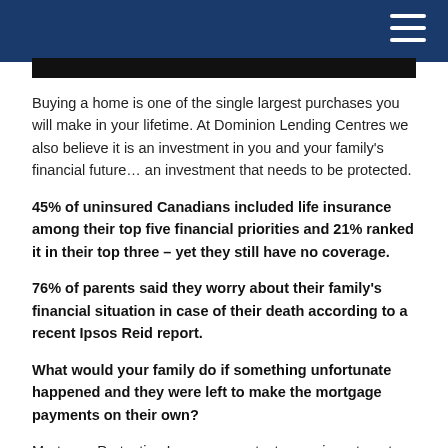Buying a home is one of the single largest purchases you will make in your lifetime. At Dominion Lending Centres we also believe it is an investment in you and your family's financial future… an investment that needs to be protected.
45% of uninsured Canadians included life insurance among their top five financial priorities and 21% ranked it in their top three – yet they still have no coverage.
76% of parents said they worry about their family's financial situation in case of their death according to a recent Ipsos Reid report.
What would your family do if something unfortunate happened and they were left to make the mortgage payments on their own?
Mortgage Protection Insurance protects your investment while